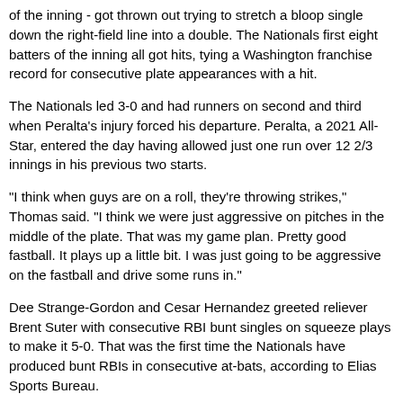of the inning - got thrown out trying to stretch a bloop single down the right-field line into a double. The Nationals first eight batters of the inning all got hits, tying a Washington franchise record for consecutive plate appearances with a hit.
The Nationals led 3-0 and had runners on second and third when Peralta's injury forced his departure. Peralta, a 2021 All-Star, entered the day having allowed just one run over 12 2/3 innings in his previous two starts.
"I think when guys are on a roll, they're throwing strikes," Thomas said. "I think we were just aggressive on pitches in the middle of the plate. That was my game plan. Pretty good fastball. It plays up a little bit. I was just going to be aggressive on the fastball and drive some runs in."
Dee Strange-Gordon and Cesar Hernandez greeted reliever Brent Suter with consecutive RBI bunt singles on squeeze plays to make it 5-0. That was the first time the Nationals have produced bunt RBIs in consecutive at-bats, according to Elias Sports Bureau.
Keibert Ruiz followed with an RBI double before Juan Soto hit a two-run single through a drawn-in infield.
Nationals manager Dave Martinez had altered his lineup Sunday by moving Soto from second to third and moving Ruiz into the No. 2 spot. Ruiz had gone 8 of 16 in his past five games going into Sunday, while Soto was 2 of 20 over his past six